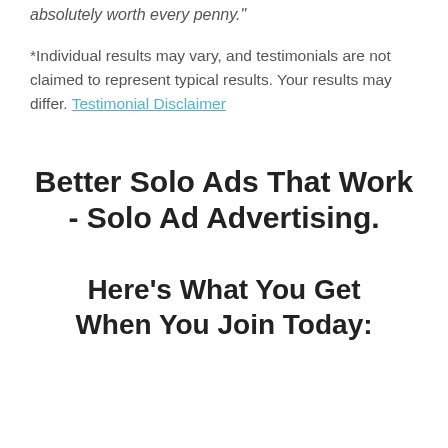absolutely worth every penny."
*Individual results may vary, and testimonials are not claimed to represent typical results. Your results may differ. Testimonial Disclaimer
Better Solo Ads That Work - Solo Ad Advertising.
Here's What You Get When You Join Today: